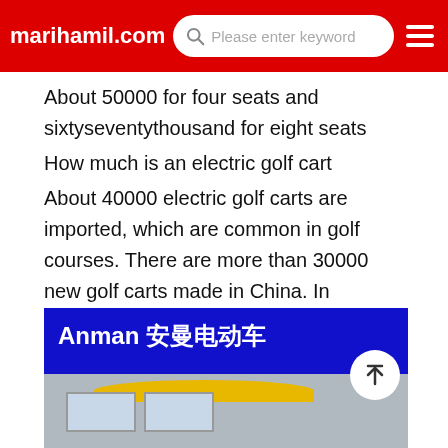marihamil.com — search bar — menu
About 50000 for four seats and sixtyseventythousand for eight seats
How much is an electric golf cart
About 40000 electric golf carts are imported, which are common in golf courses. There are more than 30000 new golf carts made in China. In addition, the old golf cart eliminated from the golf course appeared in the market after renovation, with a price of about 20000Which brand of golf cart is good
: the quality of domestic Suzhou Yigao, Zhuhai Yiwei and Wuhan Dongfeng is
[Figure (photo): Image of an Anman electric vehicle (安曼电动车) — blue banner with brand text, yellow golf cart roof visible below, building in background. Back-to-top button overlaid.]